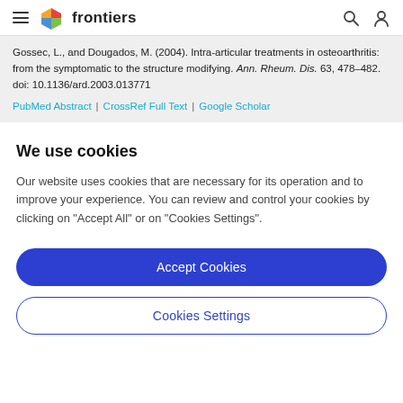frontiers
Gossec, L., and Dougados, M. (2004). Intra-articular treatments in osteoarthritis: from the symptomatic to the structure modifying. Ann. Rheum. Dis. 63, 478–482. doi: 10.1136/ard.2003.013771
PubMed Abstract | CrossRef Full Text | Google Scholar
We use cookies
Our website uses cookies that are necessary for its operation and to improve your experience. You can review and control your cookies by clicking on "Accept All" or on "Cookies Settings".
Accept Cookies
Cookies Settings